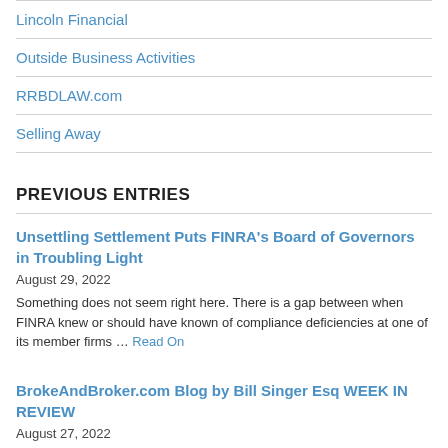Lincoln Financial
Outside Business Activities
RRBDLAW.com
Selling Away
PREVIOUS ENTRIES
Unsettling Settlement Puts FINRA's Board of Governors in Troubling Light
August 29, 2022
Something does not seem right here. There is a gap between when FINRA knew or should have known of compliance deficiencies at one of its member firms … Read On
BrokeAndBroker.com Blog by Bill Singer Esq WEEK IN REVIEW
August 27, 2022